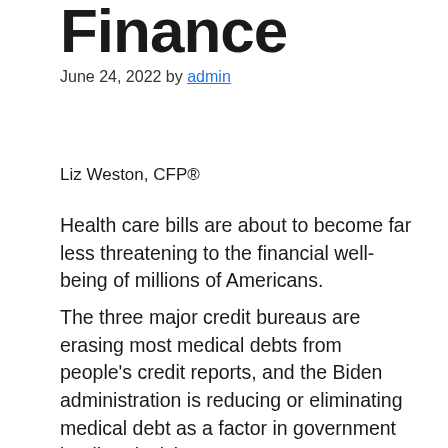Finance
June 24, 2022 by admin
Liz Weston, CFP®
Health care bills are about to become far less threatening to the financial well-being of millions of Americans.
The three major credit bureaus are erasing most medical debts from people's credit reports, and the Biden administration is reducing or eliminating medical debt as a factor in government lending decisions.